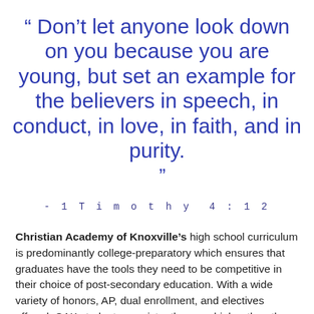“ Don’t let anyone look down on you because you are young, but set an example for the believers in speech, in conduct, in love, in faith, and in purity. ”
- 1 Timothy 4:12
Christian Academy of Knoxville’s high school curriculum is predominantly college-preparatory which ensures that graduates have the tools they need to be competitive in their choice of post-secondary education. With a wide variety of honors, AP, dual enrollment, and electives offered, CAK students consistently score higher than the state and national average on college entrance exams. All high school